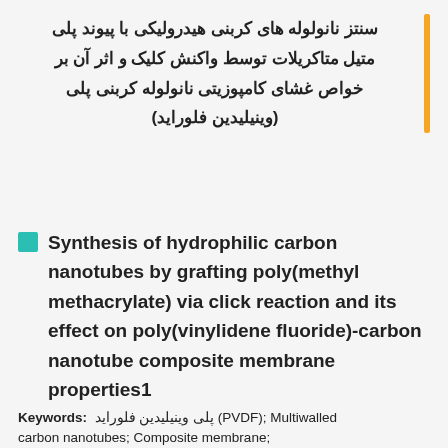سنتز نانولوله های کربنی هیدرولیکی با پیوند پلی متیل متاکریلات توسط واکنش کلیک و اثر آن بر خواص غشای کامپوزیتی نانولوله کربنی پلی (وینیلیدین فلوراید)
Synthesis of hydrophilic carbon nanotubes by grafting poly(methyl methacrylate) via click reaction and its effect on poly(vinylidene fluoride)-carbon nanotube composite membrane properties1
Keywords:  پلی وینیلیدین فلوراید (PVDF); Multiwalled carbon nanotubes; Composite membrane;